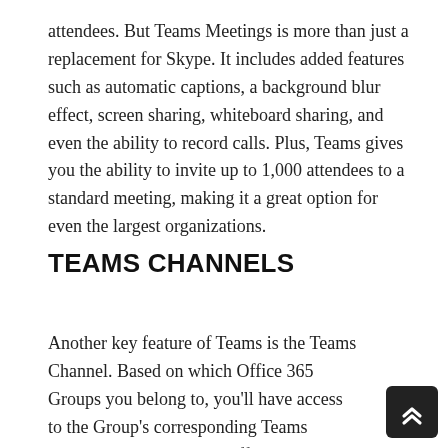attendees. But Teams Meetings is more than just a replacement for Skype. It includes added features such as automatic captions, a background blur effect, screen sharing, whiteboard sharing, and even the ability to record calls. Plus, Teams gives you the ability to invite up to 1,000 attendees to a standard meeting, making it a great option for even the largest organizations.
TEAMS CHANNELS
Another key feature of Teams is the Teams Channel. Based on which Office 365 Groups you belong to, you'll have access to the Group's corresponding Teams Channels. Each Channel offers group chat functionality like regular channels, and also…